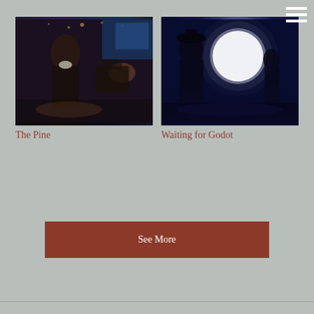[Figure (photo): Theater production photo for 'The Pine' — a person in period costume on a dimly lit stage with warm and cool lighting]
The Pine
[Figure (photo): Theater production photo for 'Waiting for Godot' — a person silhouetted against a large bright moon in a dark blue-tinted scene]
Waiting for Godot
See More